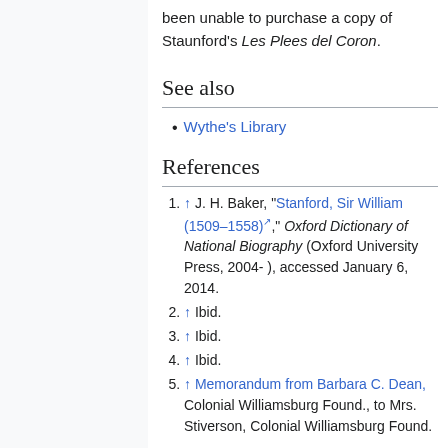been unable to purchase a copy of Staunford's Les Plees del Coron.
See also
Wythe's Library
References
↑ J. H. Baker, "Stanford, Sir William (1509–1558)," Oxford Dictionary of National Biography (Oxford University Press, 2004- ), accessed January 6, 2014.
↑ Ibid.
↑ Ibid.
↑ Ibid.
↑ Memorandum from Barbara C. Dean, Colonial Williamsburg Found., to Mrs. Stiverson, Colonial Williamsburg Found.